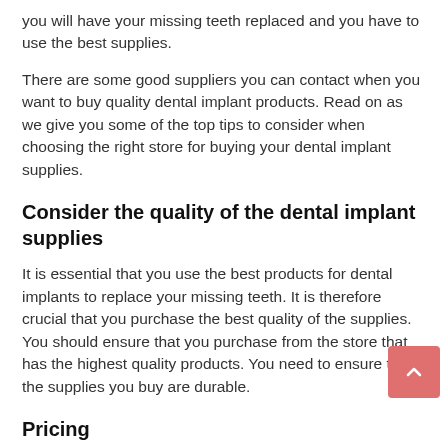you will have your missing teeth replaced and you have to use the best supplies.
There are some good suppliers you can contact when you want to buy quality dental implant products. Read on as we give you some of the top tips to consider when choosing the right store for buying your dental implant supplies.
Consider the quality of the dental implant supplies
It is essential that you use the best products for dental implants to replace your missing teeth. It is therefore crucial that you purchase the best quality of the supplies. You should ensure that you purchase from the store that has the highest quality products. You need to ensure that the supplies you buy are durable.
Pricing
When choosing the right supplier, you should consider the pricing of the supplies. You should find the best store for